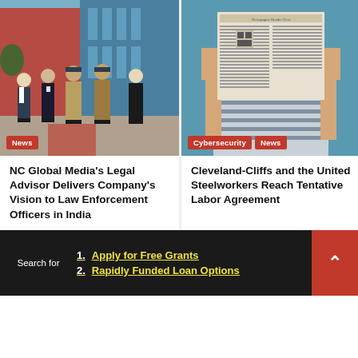[Figure (photo): Group photo of people including police officers and civilians standing in front of a building in India]
News
NC Global Media's Legal Advisor Delivers Company's Vision to Law Enforcement Officers in India
[Figure (photo): Person holding up a newspaper covering their face, reading it]
Cybersecurity   News
Cleveland-Cliffs and the United Steelworkers Reach Tentative Labor Agreement
Search for
1. Apply for Free Grants
2. Rapidly Funded Loan Options